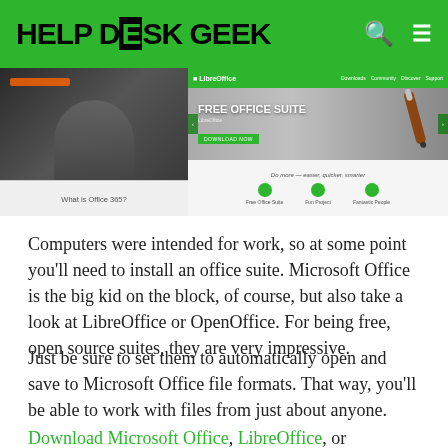HELP DESK GEEK
[Figure (screenshot): Two screenshots side by side: left shows 'What is Office 365?' article with a person at computer; right shows LibreOffice website with 'FREE OFFICE SUITE' hero banner, download button, and icons for Free Office Suite, Fun Project, Fantastic People.]
Computers were intended for work, so at some point you'll need to install an office suite. Microsoft Office is the big kid on the block, of course, but also take a look at LibreOffice or OpenOffice. For being free, open source suites, they are very impressive.
Just be sure to set them to automatically open and save to Microsoft Office file formats. That way, you'll be able to work with files from just about anyone.
Download Microsoft Office, LibreOffice, or OpenOffice